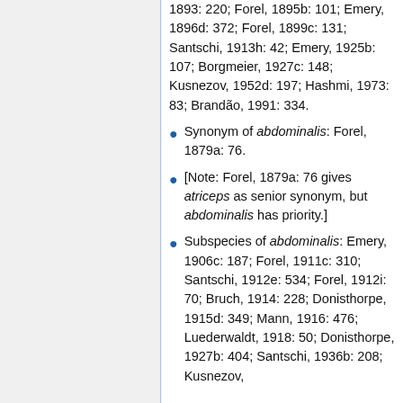1893: 220; Forel, 1895b: 101; Emery, 1896d: 372; Forel, 1899c: 131; Santschi, 1913h: 42; Emery, 1925b: 107; Borgmeier, 1927c: 148; Kusnezov, 1952d: 197; Hashmi, 1973: 83; Brandão, 1991: 334.
Synonym of abdominalis: Forel, 1879a: 76.
[Note: Forel, 1879a: 76 gives atriceps as senior synonym, but abdominalis has priority.]
Subspecies of abdominalis: Emery, 1906c: 187; Forel, 1911c: 310; Santschi, 1912e: 534; Forel, 1912i: 70; Bruch, 1914: 228; Donisthorpe, 1915d: 349; Mann, 1916: 476; Luederwaldt, 1918: 50; Donisthorpe, 1927b: 404; Santschi, 1936b: 208; Kusnezov,